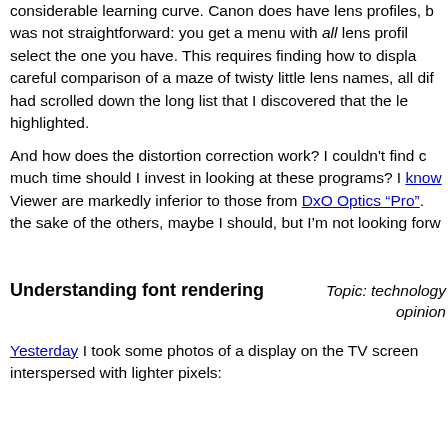considerable learning curve. Canon does have lens profiles, b... was not straightforward: you get a menu with all lens profil... select the one you have. This requires finding how to displa... careful comparison of a maze of twisty little lens names, all dif... had scrolled down the long list that I discovered that the le... highlighted.
And how does the distortion correction work? I couldn't find c... much time should I invest in looking at these programs? I know... Viewer are markedly inferior to those from DxO Optics "Pro".... the sake of the others, maybe I should, but I'm not looking forw...
Understanding font rendering
Topic: technology opinion
Yesterday I took some photos of a display on the TV screen interspersed with lighter pixels: